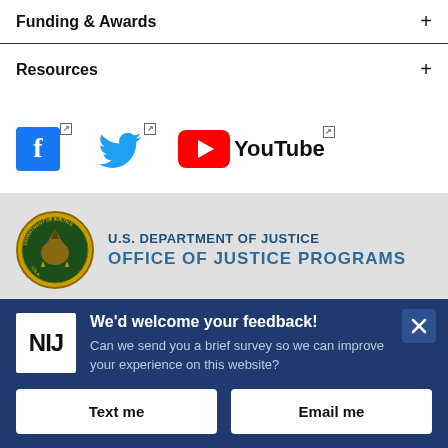Funding & Awards
Resources
[Figure (screenshot): Social media icons: Facebook, Twitter, YouTube]
[Figure (logo): U.S. Department of Justice seal with eagle emblem]
U.S. DEPARTMENT OF JUSTICE OFFICE OF JUSTICE PROGRAMS
[Figure (logo): NIJ (National Institute of Justice) white square logo]
We'd welcome your feedback! Can we send you a brief survey so we can improve your experience on this website?
Text me
Email me
Powered by Verint Experience Cloud